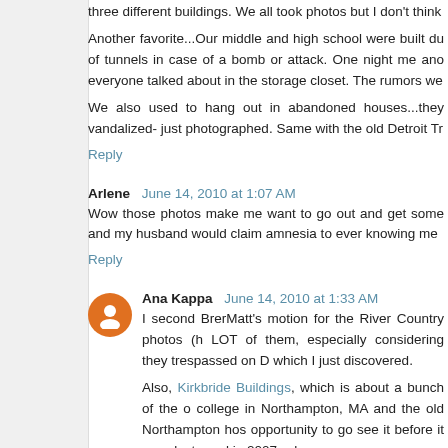three different buildings. We all took photos but I don't think
Another favorite...Our middle and high school were built du of tunnels in case of a bomb or attack. One night me ano everyone talked about in the storage closet. The rumors we
We also used to hang out in abandoned houses...they vandalized- just photographed. Same with the old Detroit Tr
Reply
Arlene  June 14, 2010 at 1:07 AM
Wow those photos make me want to go out and get some and my husband would claim amnesia to ever knowing me
Reply
Ana Kappa  June 14, 2010 at 1:33 AM
I second BrerMatt's motion for the River Country photos (h LOT of them, especially considering they trespassed on D which I just discovered.
Also, Kirkbride Buildings, which is about a bunch of the o college in Northampton, MA and the old Northampton hos opportunity to go see it before it was destroyed in 2007, wh
And Abandoned Stations, about New York City's abandone